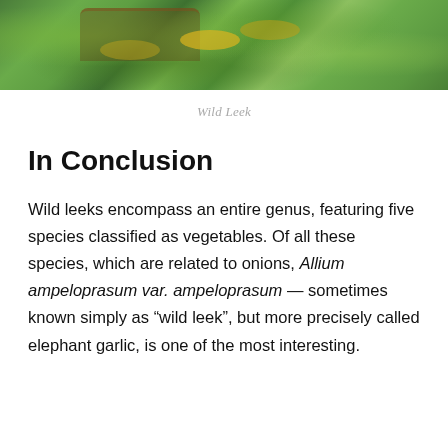[Figure (photo): Photo of wild leek plants with large green leaves and a wicker basket visible in the background, with small yellow flowers]
Wild Leek
In Conclusion
Wild leeks encompass an entire genus, featuring five species classified as vegetables. Of all these species, which are related to onions, Allium ampeloprasum var. ampeloprasum — sometimes known simply as “wild leek”, but more precisely called elephant garlic, is one of the most interesting.